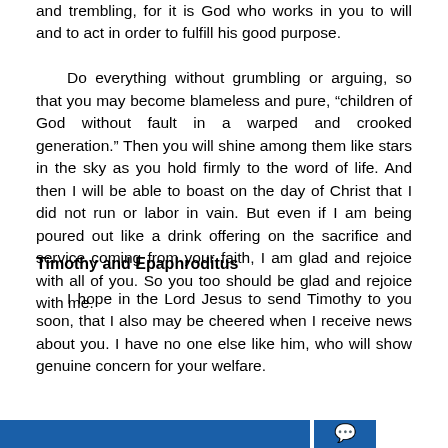and trembling, for it is God who works in you to will and to act in order to fulfill his good purpose.
    Do everything without grumbling or arguing, so that you may become blameless and pure, “children of God without fault in a warped and crooked generation.” Then you will shine among them like stars in the sky as you hold firmly to the word of life. And then I will be able to boast on the day of Christ that I did not run or labor in vain. But even if I am being poured out like a drink offering on the sacrifice and service coming from your faith, I am glad and rejoice with all of you. So you too should be glad and rejoice with me.
Timothy and Epaphroditus
I hope in the Lord Jesus to send Timothy to you soon, that I also may be cheered when I receive news about you. I have no one else like him, who will show genuine concern for your welfare.